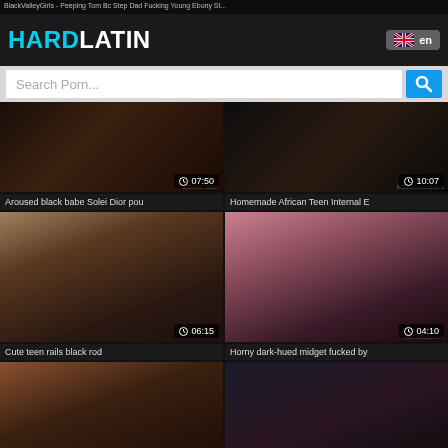BlackValleyGirls - Peeping Tom Bc Step Dad Fucking Young Ebony St...
HARDLATIN
en
Search Porn...
[Figure (screenshot): Video thumbnail - dark intimate scene, duration 07:50, watermark WEBPORNBIZ]
Aroused black babe Solei Dior pou
[Figure (screenshot): Video thumbnail - close up scene with BAMBULAXA.COM watermark, duration 10:07]
Homemade African Teen Internal E
[Figure (screenshot): Video thumbnail - interracial scene on bed, duration 06:15]
Cute teen rails black rod
[Figure (screenshot): Video thumbnail - dark-hued subject in pink, HornyBdsm.com watermark, duration 04:10]
Horny dark-hued midget fucked by
[Figure (screenshot): Video thumbnail - interracial group scene, duration 33:37]
[Figure (screenshot): Video thumbnail - Asian woman scene, duration 07:01]